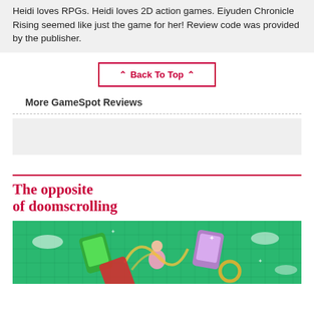Heidi loves RPGs. Heidi loves 2D action games. Eiyuden Chronicle Rising seemed like just the game for her! Review code was provided by the publisher.
^ Back To Top ^
More GameSpot Reviews
[Figure (other): Grey placeholder block for review cards]
[Figure (illustration): Advertisement: 'The opposite of doomscrolling' with colorful illustrated image showing a meditating figure surrounded by app icons and swirling shapes on a green grid background]